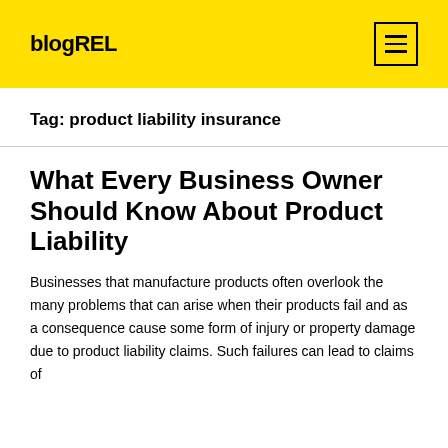blogREL
Tag: product liability insurance
What Every Business Owner Should Know About Product Liability
Businesses that manufacture products often overlook the many problems that can arise when their products fail and as a consequence cause some form of injury or property damage due to product liability claims. Such failures can lead to claims of